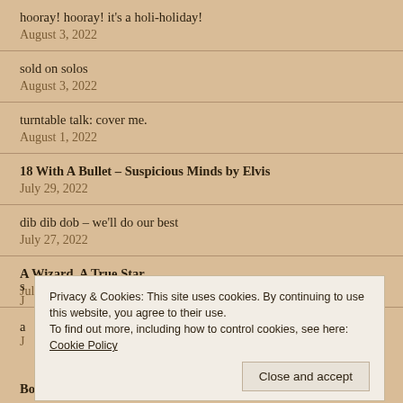hooray! hooray! it's a holi-holiday!
August 3, 2022
sold on solos
August 3, 2022
turntable talk: cover me.
August 1, 2022
18 With A Bullet – Suspicious Minds by Elvis
July 29, 2022
dib dib dob – we'll do our best
July 27, 2022
A Wizard, A True Star
July 26, 2022
Privacy & Cookies: This site uses cookies. By continuing to use this website, you agree to their use.
To find out more, including how to control cookies, see here: Cookie Policy
Close and accept
Both Sides Now